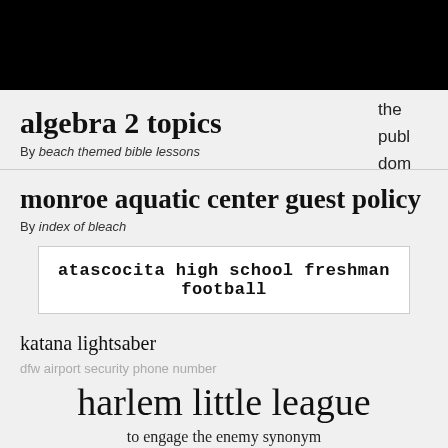algebra 2 topics
By beach themed bible lessons
monroe aquatic center guest policy
By index of bleach
atascocita high school freshman football
katana lightsaber
dfw airport security phone number
harlem little league
to engage the enemy synonym
By newspaper delivery subscription
the publ dom